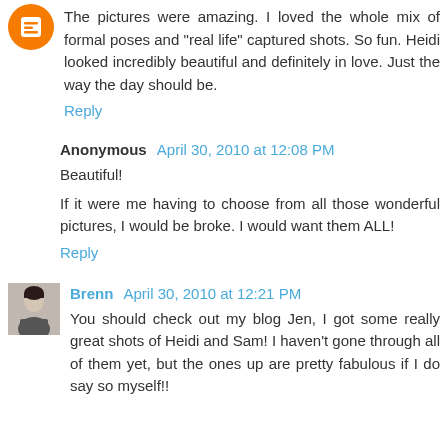The pictures were amazing. I loved the whole mix of formal poses and "real life" captured shots. So fun. Heidi looked incredibly beautiful and definitely in love. Just the way the day should be.
Reply
Anonymous  April 30, 2010 at 12:08 PM
Beautiful!
If it were me having to choose from all those wonderful pictures, I would be broke. I would want them ALL!
Reply
Brenn  April 30, 2010 at 12:21 PM
You should check out my blog Jen, I got some really great shots of Heidi and Sam! I haven't gone through all of them yet, but the ones up are pretty fabulous if I do say so myself!!